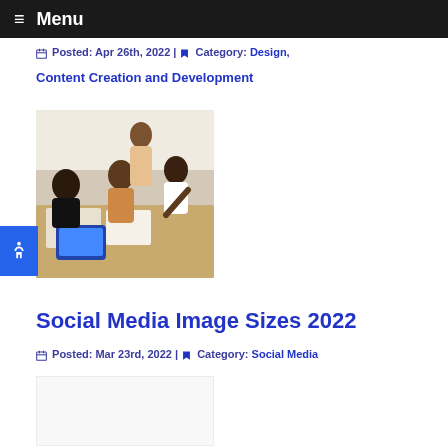≡ Menu
🗓 Posted: Apr 26th, 2022 | 🔖 Category: Design, Content Creation and Development
[Figure (photo): Group of people collaborating around a table with papers and a tablet]
Social Media Image Sizes 2022
📅 Posted: Mar 23rd, 2022 | 🔖 Category: Social Media
[Figure (photo): White/blank image placeholder]